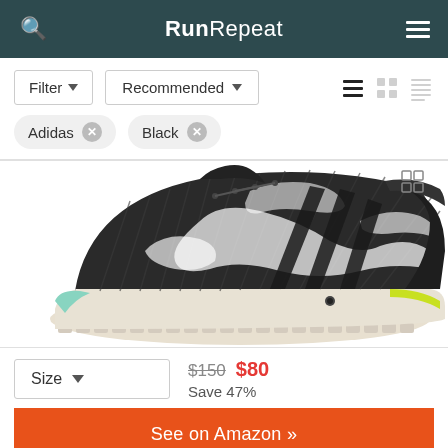RunRepeat
Filter ▾   Recommended ▾
Adidas ✕   Black ✕
[Figure (photo): Adidas golf shoe in black and white tie-dye pattern with yellow-green accent on sole, shown from the side]
Size ▾   $150  $80   Save 47%
See on Amazon »